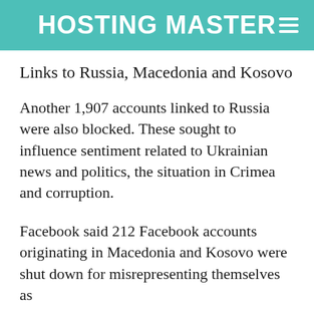HOSTING MASTER≡
Links to Russia, Macedonia and Kosovo
Another 1,907 accounts linked to Russia were also blocked. These sought to influence sentiment related to Ukrainian news and politics, the situation in Crimea and corruption.
Facebook said 212 Facebook accounts originating in Macedonia and Kosovo were shut down for misrepresenting themselves as